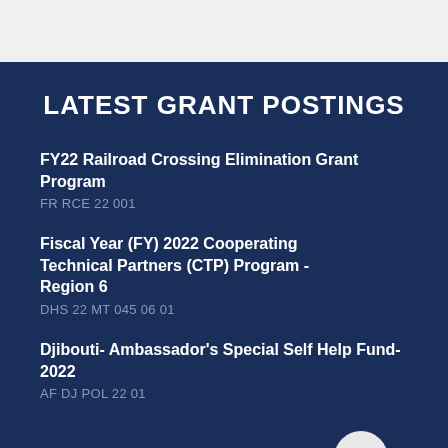LATEST GRANT POSTINGS
FY22 Railroad Crossing Elimination Grant Program
FR RCE 22 001
Fiscal Year (FY) 2022 Cooperating Technical Partners (CTP) Program - Region 6
DHS 22 MT 045 06 01
Djibouti- Ambassador's Special Self Help Fund-2022
AF DJ POL 22 01